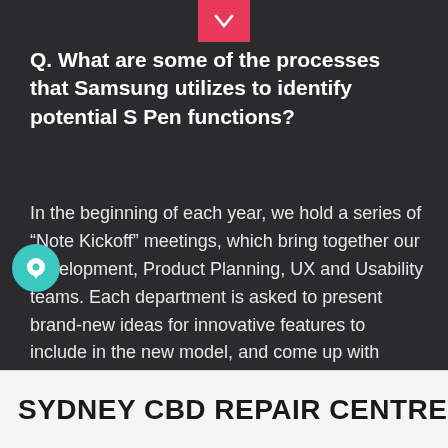Q. What are some of the processes that Samsung utilizes to identify potential S Pen functions?
In the beginning of each year, we hold a series of “Note Kickoff” meetings, which bring together our development, Product Planning, UX and Usability teams. Each department is asked to present brand-new ideas for innovative features to include in the new model, and come up with ways to improve upon the previous device based on customer feedback. This is how the Note8’s new S Pen features came about – by diligently listening to our customers’ insights on previous S Pens.
SYDNEY CBD REPAIR CENTRE MENU ≡